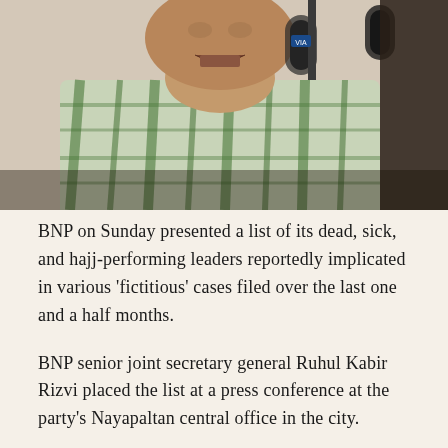[Figure (photo): A man in a green and white plaid/checkered shirt speaking into a microphone at a press conference. The photo shows him from the chest up, with the microphone in the foreground.]
BNP on Sunday presented a list of its dead, sick, and hajj-performing leaders reportedly implicated in various 'fictitious' cases filed over the last one and a half months.
BNP senior joint secretary general Ruhul Kabir Rizvi placed the list at a press conference at the party's Nayapaltan central office in the city.